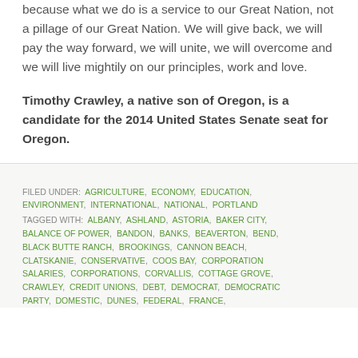because what we do is a service to our Great Nation, not a pillage of our Great Nation. We will give back, we will pay the way forward, we will unite, we will overcome and we will live mightily on our principles, work and love.
Timothy Crawley, a native son of Oregon, is a candidate for the 2014 United States Senate seat for Oregon.
FILED UNDER: AGRICULTURE, ECONOMY, EDUCATION, ENVIRONMENT, INTERNATIONAL, NATIONAL, PORTLAND
TAGGED WITH: ALBANY, ASHLAND, ASTORIA, BAKER CITY, BALANCE OF POWER, BANDON, BANKS, BEAVERTON, BEND, BLACK BUTTE RANCH, BROOKINGS, CANNON BEACH, CLATSKANIE, CONSERVATIVE, COOS BAY, CORPORATION SALARIES, CORPORATIONS, CORVALLIS, COTTAGE GROVE, CRAWLEY, CREDIT UNIONS, DEBT, DEMOCRAT, DEMOCRATIC PARTY, DOMESTIC, DUNES, FEDERAL, FRANCE,...